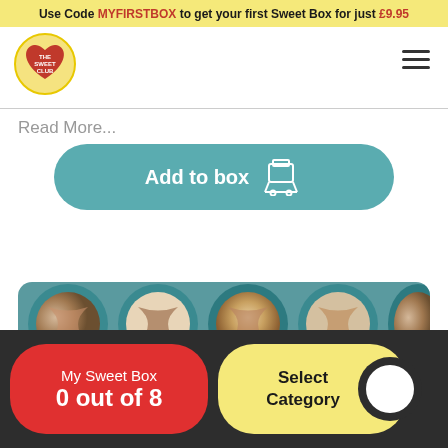Use Code MYFIRSTBOX to get your first Sweet Box for just £9.95
[Figure (logo): The Sweet Club circular heart logo with red text on yellow background]
Read More...
Add to box
[Figure (photo): Close-up of chocolate and mint swirled candy pieces on teal and white backgrounds]
My Sweet Box
0 out of 8
Select Category